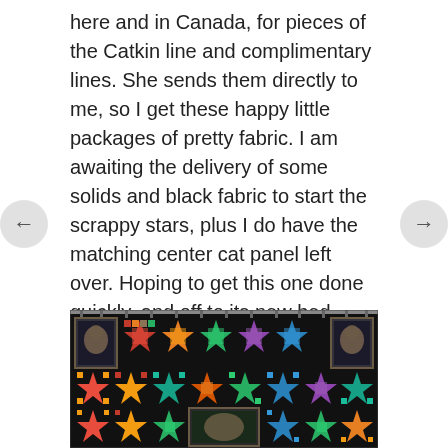here and in Canada, for pieces of the Catkin line and complimentary lines. She sends them directly to me, so I get these happy little packages of pretty fabric. I am awaiting the delivery of some solids and black fabric to start the scrappy stars, plus I do have the matching center cat panel left over. Hoping to get this one done quickly, and off to its new bed.
[Figure (photo): A colorful star-pattern quilt hung on a wall/rod, featuring multiple star blocks in red, orange, green, blue, and other colors on a black background, with decorative cat panels in the corners and bottom center.]